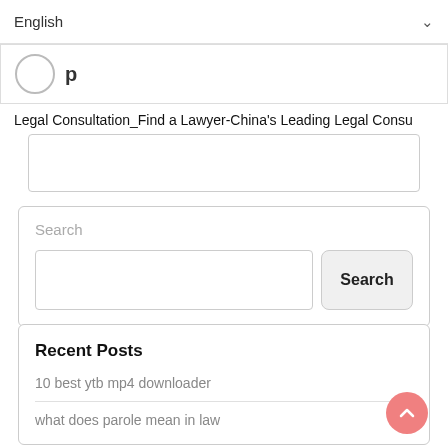English
[Figure (logo): Circular logo icon with partial text]
Legal Consultation_Find a Lawyer-China's Leading Legal Consu
[Figure (other): Advertisement/image box]
Search
[Figure (screenshot): Search widget with text input and Search button]
Recent Posts
10 best ytb mp4 downloader
what does parole mean in law